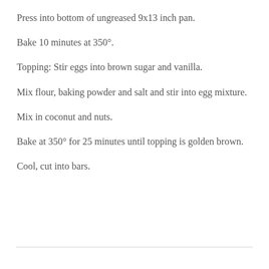Press into bottom of ungreased 9x13 inch pan.
Bake 10 minutes at 350°.
Topping: Stir eggs into brown sugar and vanilla.
Mix flour, baking powder and salt and stir into egg mixture.
Mix in coconut and nuts.
Bake at 350° for 25 minutes until topping is golden brown.
Cool, cut into bars.